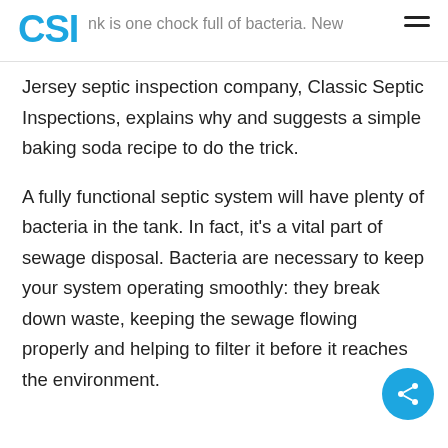CSI | ...nk is one chock full of bacteria. New
Jersey septic inspection company, Classic Septic Inspections, explains why and suggests a simple baking soda recipe to do the trick.
A fully functional septic system will have plenty of bacteria in the tank. In fact, it's a vital part of sewage disposal. Bacteria are necessary to keep your system operating smoothly: they break down waste, keeping the sewage flowing properly and helping to filter it before it reaches the environment.